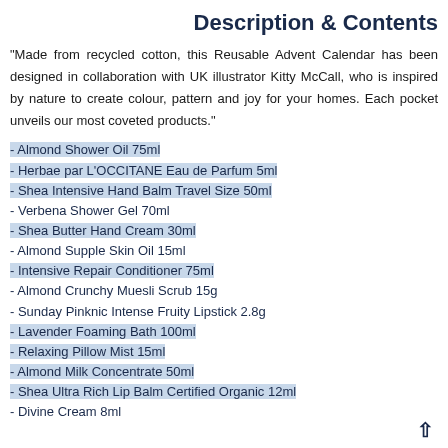Description & Contents
"Made from recycled cotton, this Reusable Advent Calendar has been designed in collaboration with UK illustrator Kitty McCall, who is inspired by nature to create colour, pattern and joy for your homes. Each pocket unveils our most coveted products."
- Almond Shower Oil 75ml
- Herbae par L'OCCITANE Eau de Parfum 5ml
- Shea Intensive Hand Balm Travel Size 50ml
- Verbena Shower Gel 70ml
- Shea Butter Hand Cream 30ml
- Almond Supple Skin Oil 15ml
- Intensive Repair Conditioner 75ml
- Almond Crunchy Muesli Scrub 15g
- Sunday Pinknic Intense Fruity Lipstick 2.8g
- Lavender Foaming Bath 100ml
- Relaxing Pillow Mist 15ml
- Almond Milk Concentrate 50ml
- Shea Ultra Rich Lip Balm Certified Organic 12ml
- Divine Cream 8ml